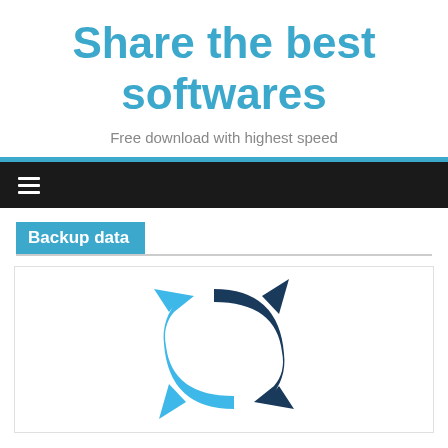Share the best softwares
Free download with highest speed
Navigation menu bar
Backup data
[Figure (illustration): Two curved arrows forming a sync/backup icon: a dark navy arrow pointing upper-right and a sky-blue arrow pointing lower-left, forming a circular refresh/backup symbol.]